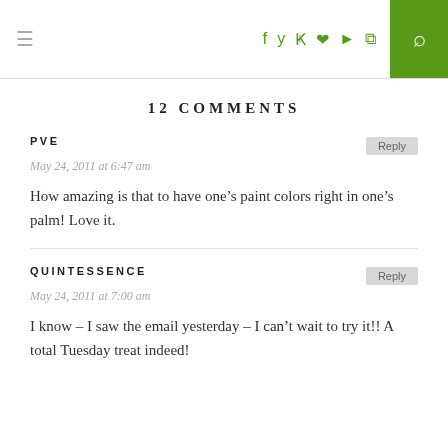≡  [social icons: f, twitter, instagram, pinterest, youtube, rss]  [search]
12 COMMENTS
PVE
May 24, 2011 at 6:47 am
How amazing is that to have one's paint colors right in one's palm! Love it.
QUINTESSENCE
May 24, 2011 at 7:00 am
I know – I saw the email yesterday – I can't wait to try it!! A total Tuesday treat indeed!